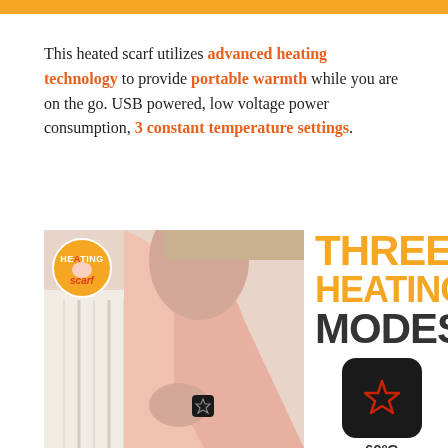[Figure (other): Orange decorative bar at top of page]
This heated scarf utilizes advanced heating technology to provide portable warmth while you are on the go. USB powered, low voltage power consumption, 3 constant temperature settings.
[Figure (photo): Photo of a woman wearing a pink heated scarf, holding the black control button. A circular Heating Scarf logo badge is overlaid on the upper left of the photo.]
[Figure (infographic): THREE HEATING MODES text with a black rounded square button showing a red star icon and 60°C label below, and a partially visible second button at the bottom.]